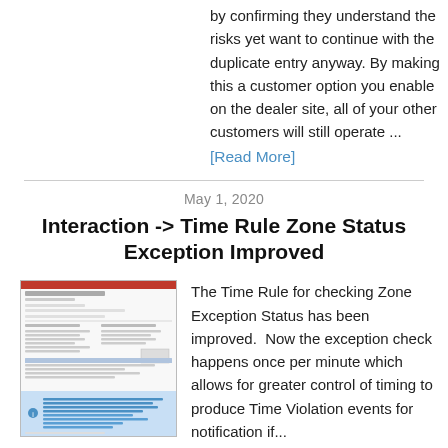by confirming they understand the risks yet want to continue with the duplicate entry anyway. By making this a customer option you enable on the dealer site, all of your other customers will still operate ...
[Read More]
May 1, 2020
Interaction -> Time Rule Zone Status Exception Improved
[Figure (screenshot): Screenshot of a software interface showing a Time Rule Zone Exception configuration screen with a highlighted blue section at the bottom.]
The Time Rule for checking Zone Exception Status has been improved.  Now the exception check happens once per minute which allows for greater control of timing to produce Time Violation events for notification if...